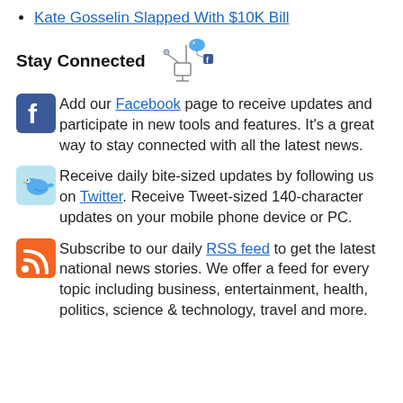Kate Gosselin Slapped With $10K Bill
Stay Connected
Add our Facebook page to receive updates and participate in new tools and features. It's a great way to stay connected with all the latest news.
Receive daily bite-sized updates by following us on Twitter. Receive Tweet-sized 140-character updates on your mobile phone device or PC.
Subscribe to our daily RSS feed to get the latest national news stories. We offer a feed for every topic including business, entertainment, health, politics, science & technology, travel and more.